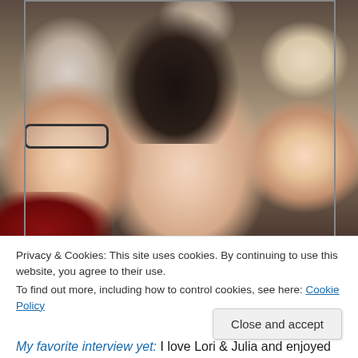[Figure (photo): Group selfie photo showing three people close-up: an older person with glasses and grey/white hair on the left wearing red, a young woman with dark hair in the center, and a blonde woman on the right. Additional people visible in background.]
Privacy & Cookies: This site uses cookies. By continuing to use this website, you agree to their use.
To find out more, including how to control cookies, see here: Cookie Policy
Close and accept
My favorite interview yet: I love Lori & Julia and enjoyed